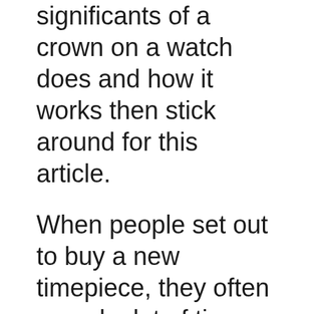significants of a crown on a watch does and how it works then stick around for this article.
When people set out to buy a new timepiece, they often spend a lot of time looking at movement specifications, type of band, water-resistance information, and the materials used to make the watch.
But guess what?
A lot of watch owners don’t even factor in the crown of their watch.
Today, we will take a minute to bring